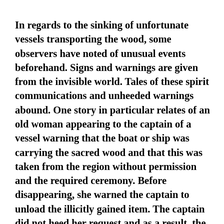In regards to the sinking of unfortunate vessels transporting the wood, some observers have noted of unusual events beforehand. Signs and warnings are given from the invisible world. Tales of these spirit communications and unheeded warnings abound. One story in particular relates of an old woman appearing to the captain of a vessel warning that the boat or ship was carrying the sacred wood and that this was taken from the region without permission and the required ceremony. Before disappearing, she warned the captain to unload the illicitly gained item. The captain did not heed her request and as a result, the vessel that he commanded en route to the Java mainland sank to the watery depths. Before the ship sailed even the villagers of the island were given omens that the vessel was doomed